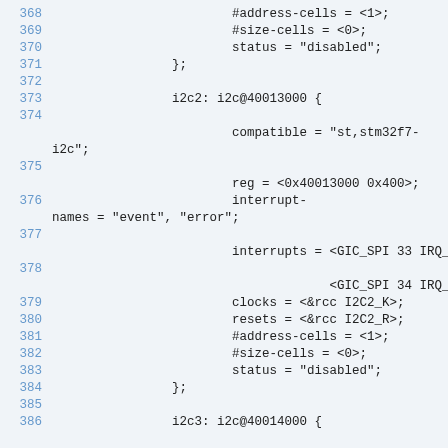368    #address-cells = <1>;
369    #size-cells = <0>;
370    status = "disabled";
371    };
372
373    i2c2: i2c@40013000 {
374
compatible = "st,stm32f7-i2c";
375
reg = <0x40013000 0x400>;
376    interrupt-names = "event", "error";
377
interrupts = <GIC_SPI 33 IRQ_TYP
378
<GIC_SPI 34 IRQ_TYP
379    clocks = <&rcc I2C2_K>;
380    resets = <&rcc I2C2_R>;
381    #address-cells = <1>;
382    #size-cells = <0>;
383    status = "disabled";
384    };
385
386    i2c3: i2c@40014000 {